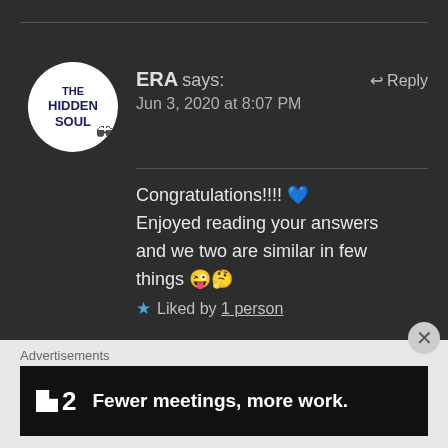[Figure (illustration): Circular avatar for 'The Hidden Soul' blog showing white circle with dark blue bold text reading THE HIDDEN SOUL and a small glasses illustration]
ERA says:   ↩ Reply
Jun 3, 2020 at 8:07 PM
Congratulations!!!! 💙
Enjoyed reading your answers and we two are similar in few things 😜🤔
★ Liked by 1 person
Advertisements
[Figure (screenshot): Dark advertisement banner with logo showing a stylized F2 mark and white bold text: Fewer meetings, more work.]